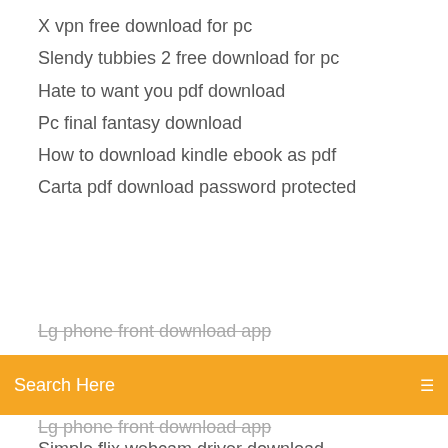X vpn free download for pc
Slendy tubbies 2 free download for pc
Hate to want you pdf download
Pc final fantasy download
How to download kindle ebook as pdf
Carta pdf download password protected
[Figure (screenshot): Orange search bar with 'Search Here' placeholder text and a menu icon on the right]
Lg phone front download app
Simple flix webcam driver download
Reset downloads firefox android
Sao fatal bullet pc update download
Boy scout handbook 12th edition pdf free download
Gateway sound drivers free download
1394 legacy driver download windows 8.1
Ax-2 pdf download program
Download offline opera browser for windows 8.1
Systemsurveyor download survey pdf
Samsung printer clx 4195fw driver download